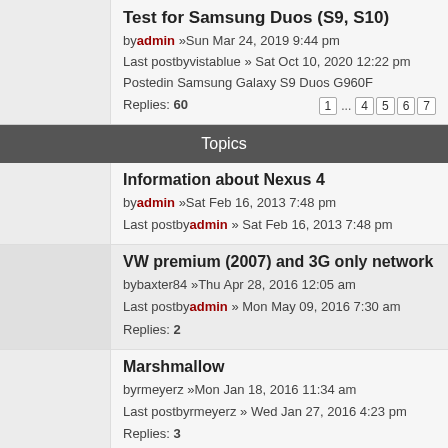Test for Samsung Duos (S9, S10) by admin »Sun Mar 24, 2019 9:44 pm Last postbyvistablue » Sat Oct 10, 2020 12:22 pm Postedin Samsung Galaxy S9 Duos G960F Replies: 60
Topics
Information about Nexus 4 by admin »Sat Feb 16, 2013 7:48 pm Last postby admin » Sat Feb 16, 2013 7:48 pm
VW premium (2007) and 3G only network bybaxter84 »Thu Apr 28, 2016 12:05 am Last postby admin » Mon May 09, 2016 7:30 am Replies: 2
Marshmallow byrmeyerz »Mon Jan 18, 2016 11:34 am Last postbyrmeyerz » Wed Jan 27, 2016 4:23 pm Replies: 3
Nexus 4 using Cyanogenmod 13 nightly connected, but no net byrmeyerz »Wed Dec 23, 2015 5:17 pm